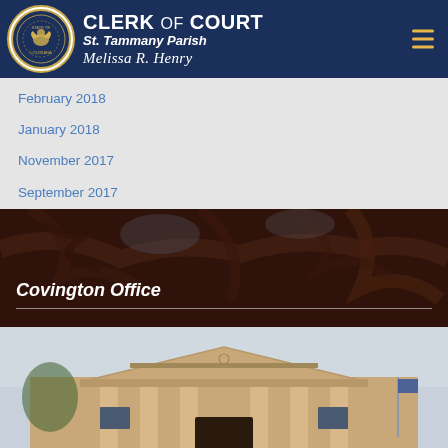CLERK of COURT St. Tammany Parish Melissa R. Henry
February 2018
January 2018
November 2017
September 2017
[Figure (photo): Outdoor photo with dark reddish-brown tree background, showing the Covington Office section header]
Covington Office
[Figure (photo): Photo of courthouse building with classical columns and triangular pediment, St. Tammany Parish Courthouse]